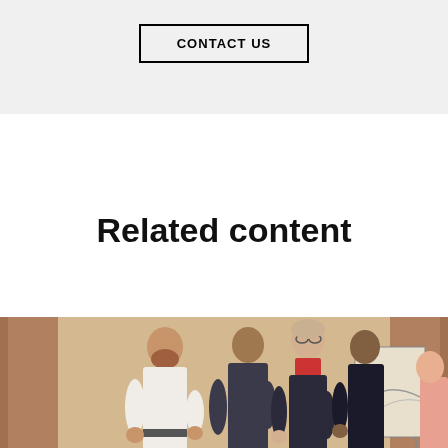CONTACT US
Related content
[Figure (photo): Group of people standing and looking at something in a room with beige curtains and a whiteboard/flipchart in the background]